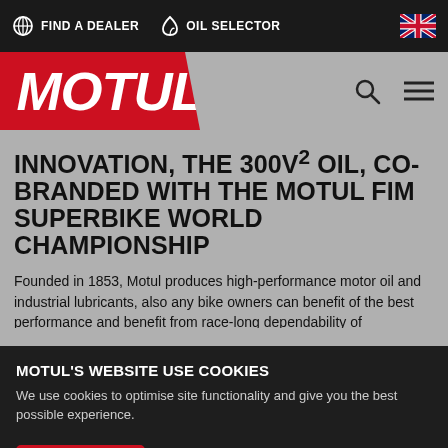FIND A DEALER  OIL SELECTOR
[Figure (logo): Motul logo — white italic text on red background]
INNOVATION, THE 300V² OIL, CO-BRANDED WITH THE MOTUL FIM SUPERBIKE WORLD CHAMPIONSHIP
Founded in 1853, Motul produces high-performance motor oil and industrial lubricants, also any bike owners can benefit of the best performance and benefit from race-long dependability of competition machines.
MOTUL'S WEBSITE USE COOKIES
We use cookies to optimise site functionality and give you the best possible experience.
I ACCEPT   SETTINGS